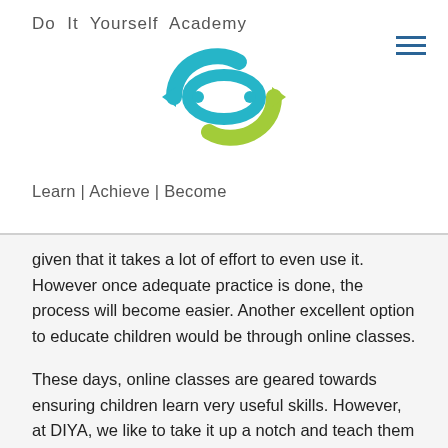Do It Yourself Academy
[Figure (logo): DIYA logo — a green and blue circular double-headed arrow icon]
Learn | Achieve | Become
given that it takes a lot of effort to even use it. However once adequate practice is done, the process will become easier. Another excellent option to educate children would be through online classes.
These days, online classes are geared towards ensuring children learn very useful skills. However, at DIYA, we like to take it up a notch and teach them skills that will earn them an international certification, making them future-ready by letting them work with the latest technologies so their learning is also practical while also including theoretical parts that will be very beneficial for your child should you wish for them to practice active learning.